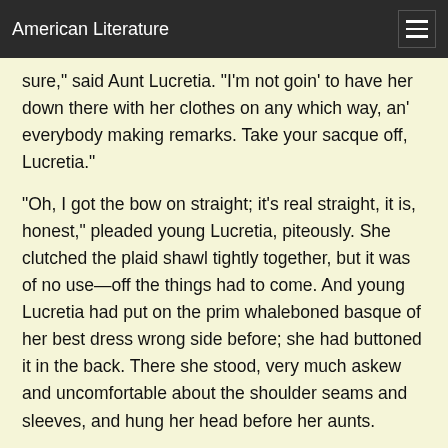American Literature
sure," said Aunt Lucretia. "I'm not goin' to have her down there with her clothes on any which way, an' everybody making remarks. Take your sacque off, Lucretia."
"Oh, I got the bow on straight; it's real straight, it is, honest," pleaded young Lucretia, piteously. She clutched the plaid shawl tightly together, but it was of no use—off the things had to come. And young Lucretia had put on the prim whaleboned basque of her best dress wrong side before; she had buttoned it in the back. There she stood, very much askew and uncomfortable about the shoulder seams and sleeves, and hung her head before her aunts.